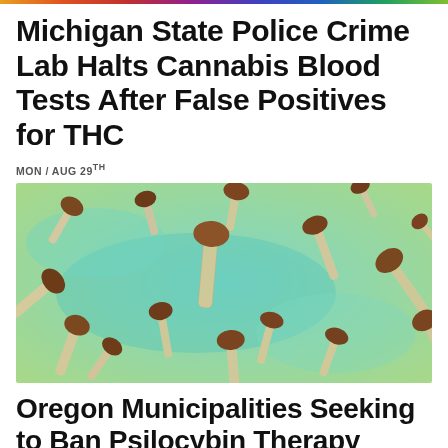Michigan State Police Crime Lab Halts Cannabis Blood Tests After False Positives for THC
MON / AUG 29TH
[Figure (photo): Overhead view of multiple psilocybin mushrooms scattered on a teal/green background, showing brown caps and pale stems]
Oregon Municipalities Seeking to Ban Psilocybin Therapy